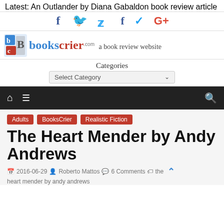Latest: An Outlander by Diana Gabaldon book review article
[Figure (logo): Social media icons: Facebook (f), Twitter (bird), Google+ (G+)]
[Figure (logo): BooksCrier.com logo with tagline 'a book review website']
Categories
Select Category
[Figure (other): Navigation bar with home icon, menu icon, and search icon on dark background]
Adults
BooksCrier
Realistic Fiction
The Heart Mender by Andy Andrews
2016-06-29  Roberto Mattos  6 Comments  the heart mender by andy andrews